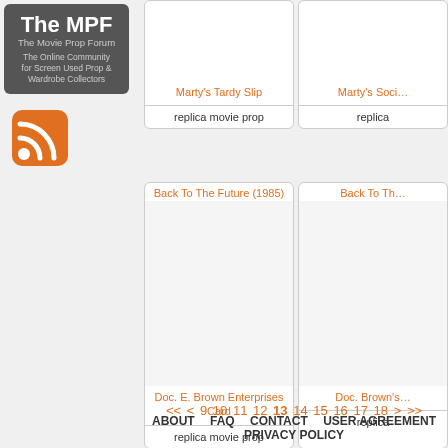[Figure (logo): The MPF - The Movie Prop Forum logo with tagline 'The Online Community for Screen Used Prop & Wardrobe Collectors']
[Figure (illustration): RSS feed orange icon]
Marty's Tardy Slip
replica movie prop
Marty's Soci...
replica
Back To The Future (1985)
Doc. E. Brown Enterprises Card
replica movie prop
Back To Th...
Doc. Brown's...
replica
<< < 9 10 11 12 13 14 15 16 17 18 > >>
ABOUT   FAQ   CONTACT   USER AGREEMENT   PRIVACY POLICY